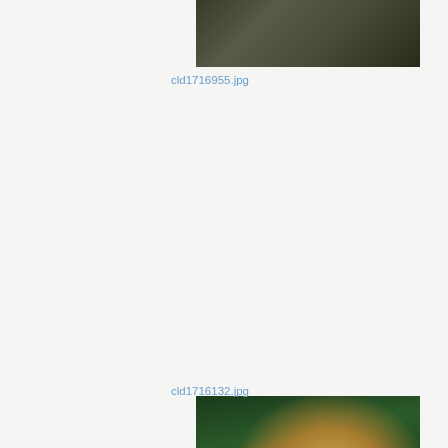[Figure (photo): Top portion of a snake photograph, showing ground/forest floor with moss and dark substrate]
cld1716955.jpg
[Figure (photo): A tan/golden striped snake coiled around a moss-covered tree trunk in a tropical rainforest setting with lush green foliage in background]
cld1716132.jpg
[Figure (photo): Bottom portion of another snake photograph, partially visible, very dark background]